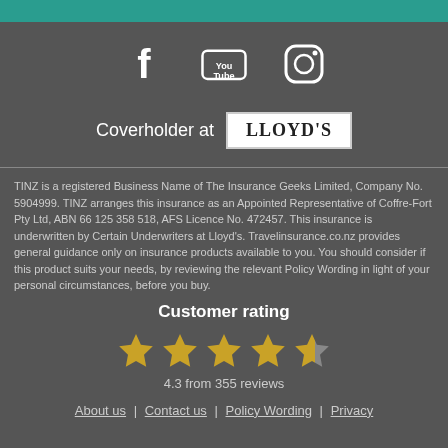[Figure (illustration): Teal header bar at top of page]
[Figure (illustration): Social media icons: Facebook, YouTube, Instagram]
[Figure (illustration): Coverholder at LLOYD'S logo/badge]
TINZ is a registered Business Name of The Insurance Geeks Limited, Company No. 5904999. TINZ arranges this insurance as an Appointed Representative of Coffre-Fort Pty Ltd, ABN 66 125 358 518, AFS Licence No. 472457. This insurance is underwritten by Certain Underwriters at Lloyd's. Travelinsurance.co.nz provides general guidance only on insurance products available to you. You should consider if this product suits your needs, by reviewing the relevant Policy Wording in light of your personal circumstances, before you buy.
Customer rating
[Figure (illustration): 4.3 out of 5 stars rating display (5 golden stars, last partially filled)]
4.3 from 355 reviews
About us | Contact us | Policy Wording | Privacy